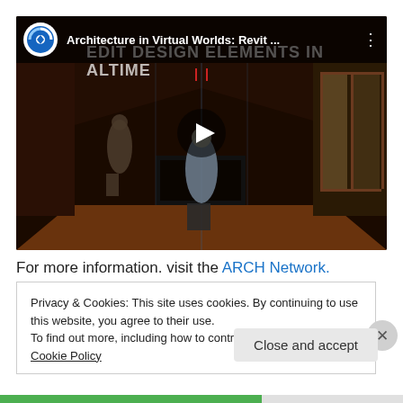[Figure (screenshot): YouTube-style video thumbnail showing a 3D architectural interior scene with two avatar figures standing in a dark wood-toned room with a fireplace and large windows. A play button is overlaid in the center. The video bar at top shows a logo, the title 'Architecture in Virtual Worlds: Revit ...' and a three-dot menu. Background text reads 'EDIT DESIGN ELEMENTS IN ALTIME'.]
For more information. visit the ARCH Network.
Privacy & Cookies: This site uses cookies. By continuing to use this website, you agree to their use.
To find out more, including how to control cookies, see here: Cookie Policy
Close and accept